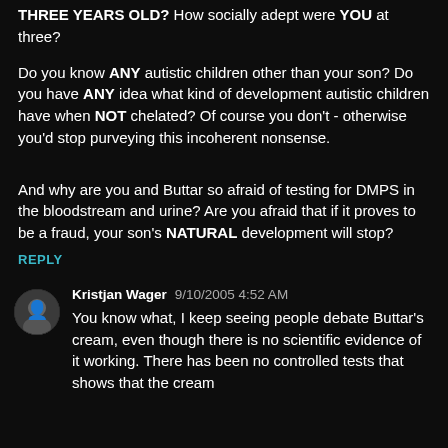THREE YEARS OLD? How socially adept were YOU at three?
Do you know ANY autistic children other than your son? Do you have ANY idea what kind of development autistic children have when NOT chelated? Of course you don't - otherwise you'd stop purveying this incoherent nonsense.
And why are you and Buttar so afraid of testing for DMPS in the bloodstream and urine? Are you afraid that if it proves to be a fraud, your son's NATURAL development will stop?
REPLY
[Figure (photo): Circular avatar photo of Kristjan Wager]
Kristjan Wager  9/10/2005 4:52 AM
You know what, I keep seeing people debate Buttar's cream, even though there is no scientific evidence of it working. There has been no controlled tests that shows that the cream...